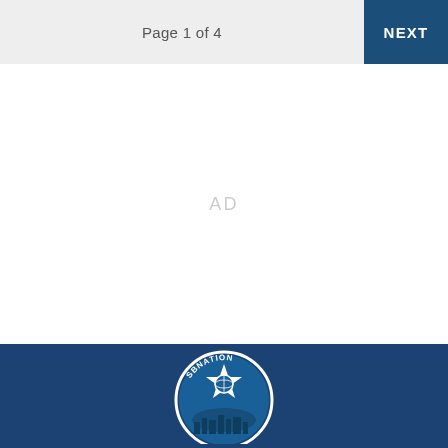Page 1 of 4  NEXT
AD
[Figure (logo): SBNation logo — circular badge with a star and globe motif, white circle outline on dark blue background, text SBNATION at top of circle]